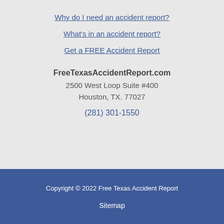Why do I need an accident report?
What's in an accident report?
Get a FREE Accident Report
FreeTexasAccidentReport.com
2500 West Loop Suite #400
Houston, TX. 77027
(281) 301-1550
Copyright © 2022 Free Texas Accident Report
Sitemap